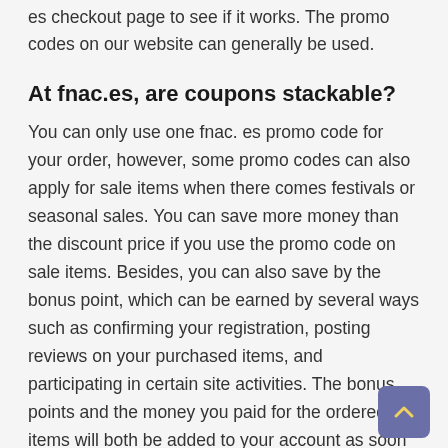es checkout page to see if it works. The promo codes on our website can generally be used.
At fnac.es, are coupons stackable?
You can only use one fnac. es promo code for your order, however, some promo codes can also apply for sale items when there comes festivals or seasonal sales. You can save more money than the discount price if you use the promo code on sale items. Besides, you can also save by the bonus point, which can be earned by several ways such as confirming your registration, posting reviews on your purchased items, and participating in certain site activities. The bonus points and the money you paid for the ordered items will both be added to your account as soon as you confirm delivery of your order.
Are first time customers offered a special discount at fnac.es?
You'll get a $5 discount when you join up for fnac. es's